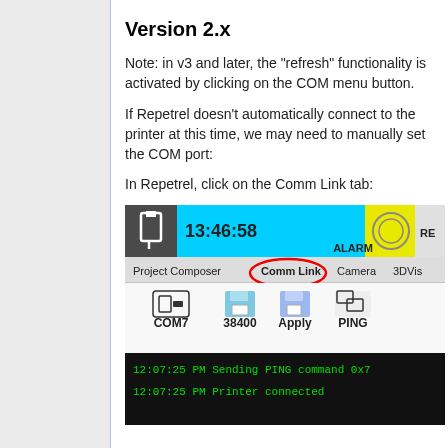Version 2.x
Note: in v3 and later, the "refresh" functionality is activated by clicking on the COM menu button.
If Repetrel doesn't automatically connect to the printer at this time, we may need to manually set the COM port:
In Repetrel, click on the Comm Link tab:
[Figure (screenshot): Screenshot of Repetrel software showing the Comm Link tab circled in red, with COM7, 38400, Apply, PING buttons visible, and a black terminal log showing '12:07:25 PM  Sending PING command 0x7' and '12:07:25 PM  Printer connected']